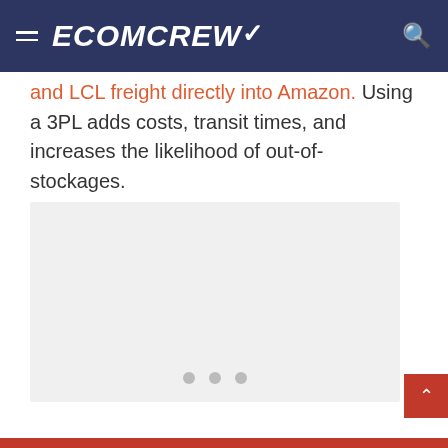ECOMCREW
and LCL freight directly into Amazon. Using a 3PL adds costs, transit times, and increases the likelihood of out-of-stockages.
[Figure (other): Image placeholder with carousel dots, content not loaded]